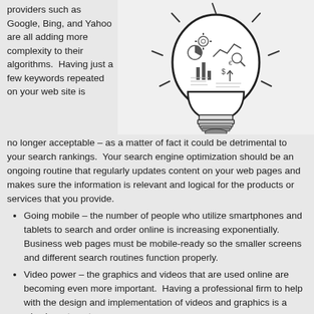providers such as Google, Bing, and Yahoo are all adding more complexity to their algorithms.  Having just a few keywords repeated on your web site is
[Figure (illustration): Illustration of a lightbulb containing business/technology icons and charts inside the glass bulb, with lines radiating outward suggesting illumination or ideas.]
no longer acceptable – as a matter of fact it could be detrimental to your search rankings.  Your search engine optimization should be an ongoing routine that regularly updates content on your web pages and makes sure the information is relevant and logical for the products or services that you provide.
Going mobile – the number of people who utilize smartphones and tablets to search and order online is increasing exponentially.  Business web pages must be mobile-ready so the smaller screens and different search routines function properly.
Video power – the graphics and videos that are used online are becoming even more important.  Having a professional firm to help with the design and implementation of videos and graphics is a wise investment.